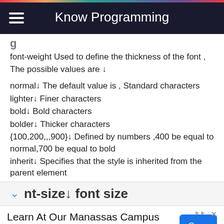Know Programming
g
font-weight Used to define the thickness of the font , The possible values are ↓
normal↓ The default value is , Standard characters
lighter↓ Finer characters
bold↓ Bold characters
bolder↓ Thicker characters
{100,200,,,900}↓ Defined by numbers ,400 be equal to normal,700 be equal to bold
inherit↓ Specifies that the style is inherited from the parent element
nt-size↓ font size
Learn At Our Manassas Campus
Acquire Proper Knowledge & Skill Levels To Pass The A&P License Test. Get More Info Today. my.fixjets.com